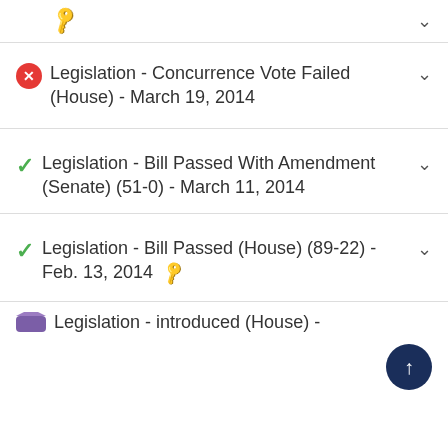🔑 (key icon with chevron — partial top item)
Legislation - Concurrence Vote Failed (House) - March 19, 2014
Legislation - Bill Passed With Amendment (Senate) (51-0) - March 11, 2014
Legislation - Bill Passed (House) (89-22) - Feb. 13, 2014 🔑
Legislation - [partial, cut off at bottom]